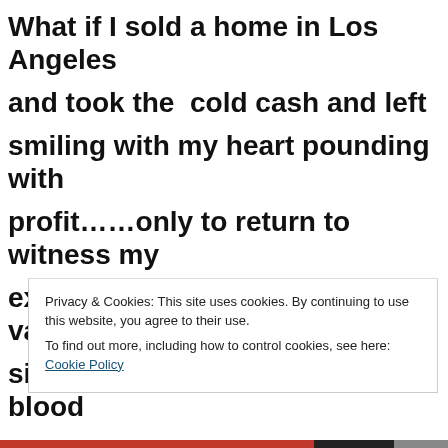What if I sold a home in Los Angeles and took the cold cash and left smiling with my heart pounding with profit……only to return to witness my ex abode had nearly doubled in value since I left. Which elevated the blood
Privacy & Cookies: This site uses cookies. By continuing to use this website, you agree to their use.
To find out more, including how to control cookies, see here: Cookie Policy
Close and accept